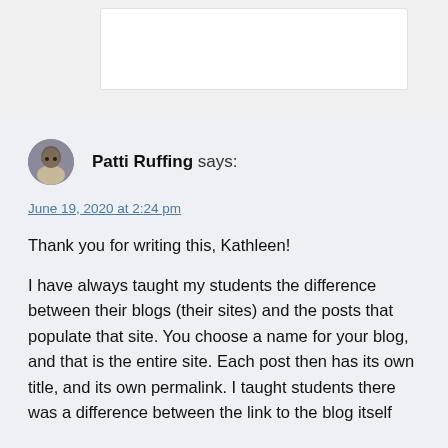Patti Ruffing says:
June 19, 2020 at 2:24 pm
Thank you for writing this, Kathleen!

I have always taught my students the difference between their blogs (their sites) and the posts that populate that site.  You choose a name for your blog, and that is the entire site. Each post then has its own title, and its own permalink. I taught students there was a difference between the link to the blog itself